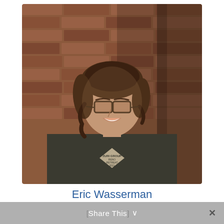[Figure (photo): Headshot of a young man with medium-length wavy brown hair, wearing rectangular glasses and a dark olive/charcoal crewneck sweatshirt with a diamond-shaped 'Zuri Group Reno Retreat 2021' logo on the chest, smiling in front of a red brick wall background.]
Eric Wasserman
Share This ∨  ×